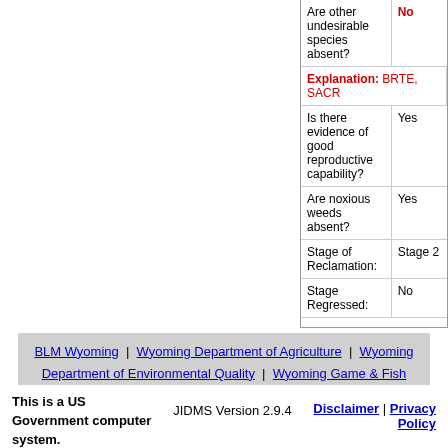| Question | Answer |
| --- | --- |
| Are other undesirable species absent? | No |
| Explanation: BRTE, SACR |  |
| Is there evidence of good reproductive capability? | Yes |
| Are noxious weeds absent? | Yes |
| Stage of Reclamation: | Stage 2 |
| Stage Regressed: | No |
BLM Wyoming | Wyoming Department of Agriculture | Wyoming Department of Environmental Quality | Wyoming Game & Fish
This is a US Government computer system.
JIDMS Version 2.9.4
Disclaimer | Privacy Policy